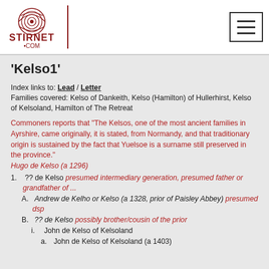Stirnet.com logo and navigation
'Kelso1'
Index links to: Lead / Letter
Families covered: Kelso of Dankeith, Kelso (Hamilton) of Hullerhirst, Kelso of Kelsoland, Hamilton of The Retreat
Commoners reports that "The Kelsos, one of the most ancient families in Ayrshire, came originally, it is stated, from Normandy, and that traditionary origin is sustained by the fact that Yuelsoe is a surname still preserved in the province."
Hugo de Kelso (a 1296)
1. ?? de Kelso presumed intermediary generation, presumed father or grandfather of ...
A. Andrew de Kelho or Kelso (a 1328, prior of Paisley Abbey) presumed dsp
B. ?? de Kelso possibly brother/cousin of the prior
i. John de Kelso of Kelsoland
a. John de Kelso of Kelsoland (a 1403)